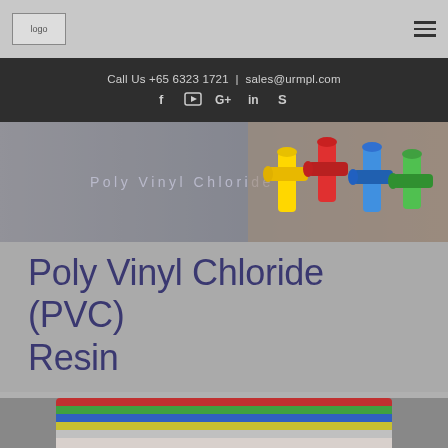logo | hamburger menu
Call Us +65 6323 1721 | sales@urmpl.com
[Figure (other): Social media icons: Facebook, YouTube, Google+, LinkedIn, Skype]
[Figure (photo): Hero banner with text 'Poly Vinyl Chloride' and colorful PVC pipe fittings on right side]
Poly Vinyl Chloride (PVC) Resin
[Figure (photo): Bottom strip showing stacked colored PVC/plastic sheets in red, green, blue, yellow, and grey]